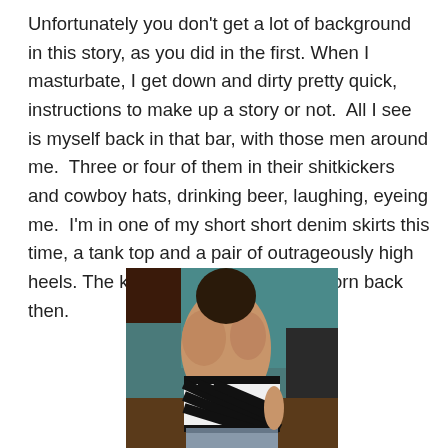Unfortunately you don't get a lot of background in this story, as you did in the first. When I masturbate, I get down and dirty pretty quick, instructions to make up a story or not.  All I see is myself back in that bar, with those men around me.  Three or four of them in their shitkickers and cowboy hats, drinking beer, laughing, eyeing me.  I'm in one of my short short denim skirts this time, a tank top and a pair of outrageously high heels. The kind I never would have worn back then.
[Figure (photo): Photo of a person from behind wearing a black-and-white striped strapless top and denim jeans, with a teal/turquoise background.]